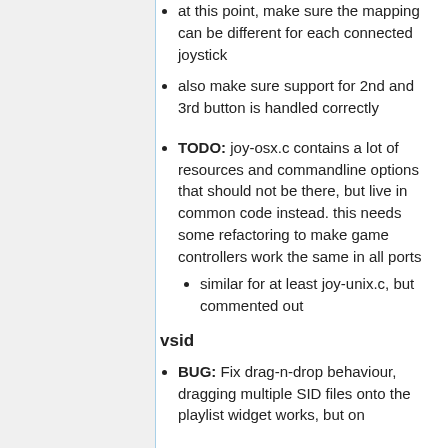at this point, make sure the mapping can be different for each connected joystick
also make sure support for 2nd and 3rd button is handled correctly
TODO: joy-osx.c contains a lot of resources and commandline options that should not be there, but live in common code instead. this needs some refactoring to make game controllers work the same in all ports
similar for at least joy-unix.c, but commented out
vsid
BUG: Fix drag-n-drop behaviour, dragging multiple SID files onto the playlist widget works, but on